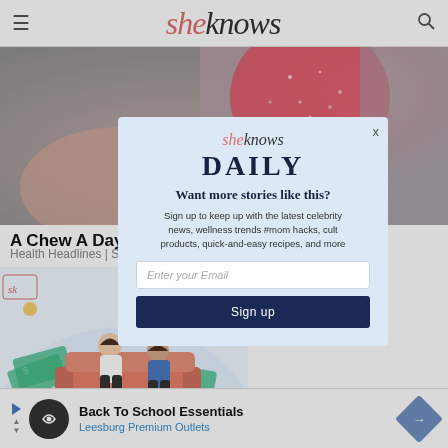sheknows
[Figure (photo): Close-up of a hand holding a sparkly pink/red ornament or object, with blurred background]
A Chew A Day K... ...n Away
Health Headlines | S...
[Figure (illustration): Illustration of a couple sitting on a couch surrounded by dollar signs and money bills, with a piggy bank. SheKnows SK logo in corner.]
[Figure (screenshot): SheKnows Daily newsletter signup modal with logo, headline 'Want more stories like this?', email input field, and Sign up button]
Want more stories like this?
Sign up to keep up with the latest celebrity news, wellness trends #mom hacks, cult products, quick-and-easy recipes, and more
Enter your Email
Sign up
Back To School Essentials
Leesburg Premium Outlets